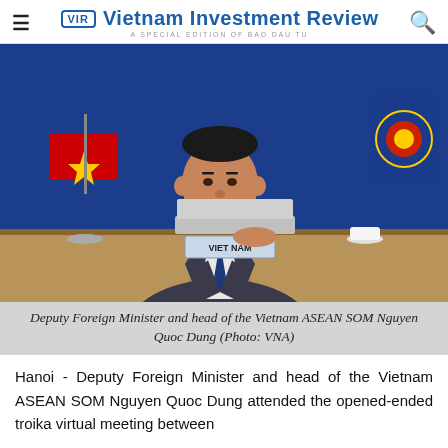Vietnam Investment Review — A SPECIAL EDITION OF BAO DAU TU
[Figure (photo): Deputy Foreign Minister and head of the Vietnam ASEAN SOM Nguyen Quoc Dung seated at a conference table with a VIET NAM nameplate, a red Vietnamese flag with yellow star on the left, and an ASEAN flag on the right, against a blue background.]
Deputy Foreign Minister and head of the Vietnam ASEAN SOM Nguyen Quoc Dung (Photo: VNA)
Hanoi - Deputy Foreign Minister and head of the Vietnam ASEAN SOM Nguyen Quoc Dung attended the opened-ended troika virtual meeting between